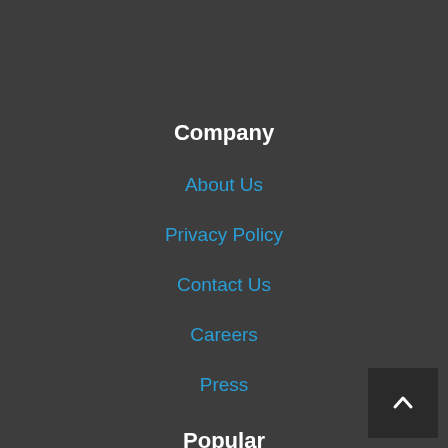Company
About Us
Privacy Policy
Contact Us
Careers
Press
Popular
Make Money
Save Money